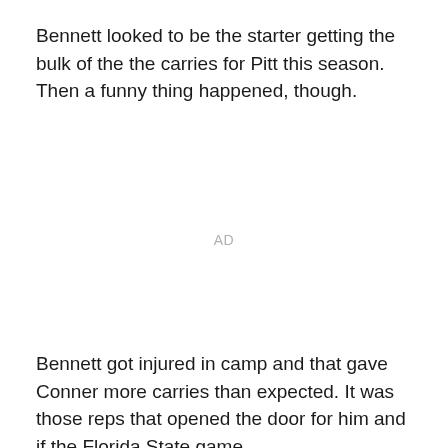Bennett looked to be the starter getting the bulk of the the carries for Pitt this season. Then a funny thing happened, though.
AD
Bennett got injured in camp and that gave Conner more carries than expected. It was those reps that opened the door for him and if the Florida State game